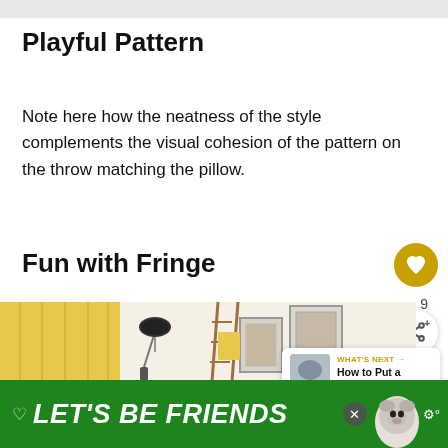Playful Pattern
Note here how the neatness of the style complements the visual cohesion of the pattern on the throw matching the pillow.
Fun with Fringe
[Figure (photo): Interior room scene with yellow curtains, a floor lamp, wooden ladder, framed wall art, and a small plant on the floor. Bright and airy room.]
WHAT'S NEXT → How to Put a Throw on a...
[Figure (other): Green advertisement banner reading LET'S BE FRIENDS with a dog illustration and close button]